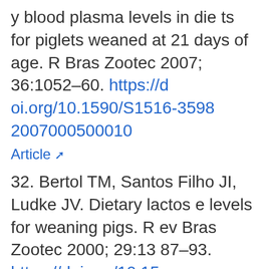y blood plasma levels in diets for piglets weaned at 21 days of age. R Bras Zootec 2007; 36:1052–60. https://doi.org/10.1590/S1516-35982007000500010
Article [external link]
32. Bertol TM, Santos Filho JI, Ludke JV. Dietary lactose levels for weaning pigs. Rev Bras Zootec 2000; 29:1387–93. https://doi.org/10.15...